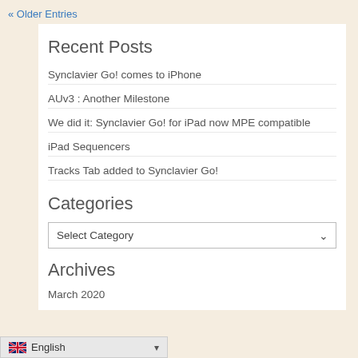« Older Entries
Recent Posts
Synclavier Go! comes to iPhone
AUv3 : Another Milestone
We did it: Synclavier Go! for iPad now MPE compatible
iPad Sequencers
Tracks Tab added to Synclavier Go!
Categories
Select Category
Archives
March 2020
English